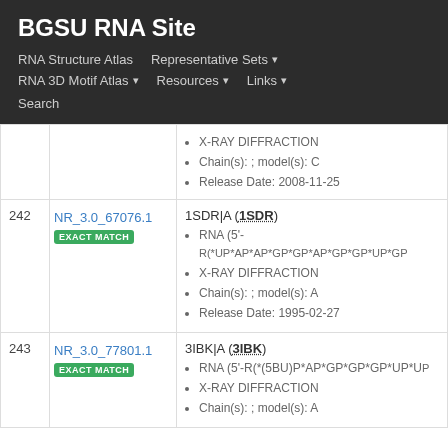BGSU RNA Site
RNA Structure Atlas | Representative Sets ▾ | RNA 3D Motif Atlas ▾ | Resources ▾ | Links ▾ | Search
| # | ID | Details |
| --- | --- | --- |
|  |  | X-RAY DIFFRACTION
Chain(s): ; model(s): C
Release Date: 2008-11-25 |
| 242 | NR_3.0_67076.1 EXACT MATCH | 1SDR|A (1SDR)
RNA (5'-R(*UP*AP*AP*GP*GP*AP*GP*GP*UP*GP...
X-RAY DIFFRACTION
Chain(s): ; model(s): A
Release Date: 1995-02-27 |
| 243 | NR_3.0_77801.1 EXACT MATCH | 3IBK|A (3IBK)
RNA (5'-R(*(5BU)P*AP*GP*GP*GP*UP*U...
X-RAY DIFFRACTION
Chain(s): ; model(s): A |